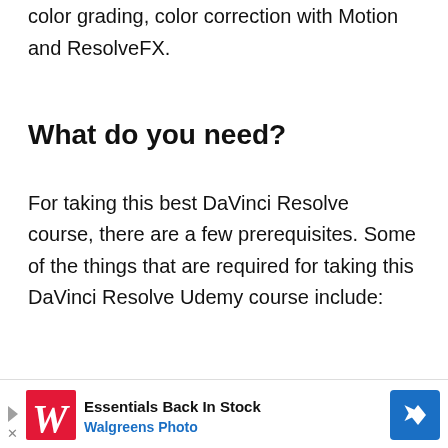color grading, color correction with Motion and ResolveFX.
What do you need?
For taking this best DaVinci Resolve course, there are a few prerequisites. Some of the things that are required for taking this DaVinci Resolve Udemy course include:
[Figure (photo): PUMA RS advertisement showing sneakers image on the left, 'Shop New PUMA RS' text with PUMA logo, and a 'SHOP NOW' button in red. A Walgreens Photo ad at bottom showing 'Essentials Back In Stock' with Walgreens logo and navigation arrow.]